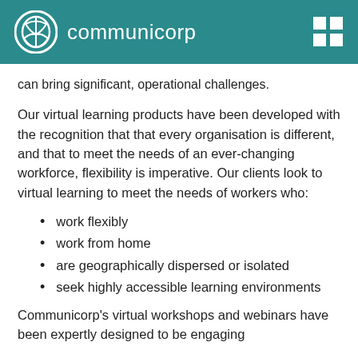communicorp
can bring significant, operational challenges.
Our virtual learning products have been developed with the recognition that that every organisation is different, and that to meet the needs of an ever-changing workforce, flexibility is imperative. Our clients look to virtual learning to meet the needs of workers who:
work flexibly
work from home
are geographically dispersed or isolated
seek highly accessible learning environments
Communicorp's virtual workshops and webinars have been expertly designed to be engaging